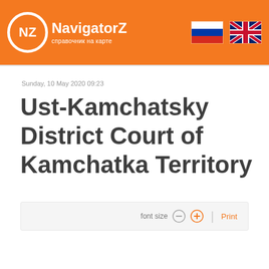NavigatorZ справочник на карте
Sunday, 10 May 2020 09:23
Ust-Kamchatsky District Court of Kamchatka Territory
font size  -  +  |  Print